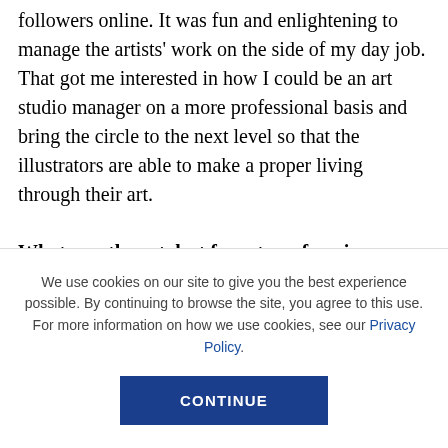the artists manage their projects and market to their followers online. It was fun and enlightening to manage the artists' work on the side of my day job. That got me interested in how I could be an art studio manager on a more professional basis and bring the circle to the next level so that the illustrators are able to make a proper living through their art.
What was the catalyst from transforming your hobby or something you love into a business? Can you share the story of your “ah ha” moment with
We use cookies on our site to give you the best experience possible. By continuing to browse the site, you agree to this use. For more information on how we use cookies, see our Privacy Policy.